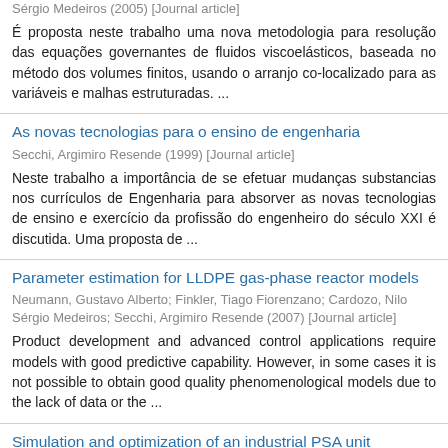Sérgio Medeiros (2005) [Journal article]
É proposta neste trabalho uma nova metodologia para resolução das equações governantes de fluidos viscoelásticos, baseada no método dos volumes finitos, usando o arranjo co-localizado para as variáveis e malhas estruturadas. ...
As novas tecnologias para o ensino de engenharia
Secchi, Argimiro Resende (1999) [Journal article]
Neste trabalho a importância de se efetuar mudanças substancias nos currículos de Engenharia para absorver as novas tecnologias de ensino e exercício da profissão do engenheiro do século XXI é discutida. Uma proposta de ...
Parameter estimation for LLDPE gas-phase reactor models
Neumann, Gustavo Alberto; Finkler, Tiago Fiorenzano; Cardozo, Nilo Sérgio Medeiros; Secchi, Argimiro Resende (2007) [Journal article]
Product development and advanced control applications require models with good predictive capability. However, in some cases it is not possible to obtain good quality phenomenological models due to the lack of data or the ...
Simulation and optimization of an industrial PSA unit